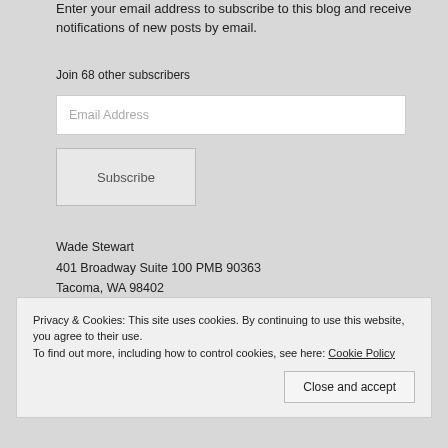Enter your email address to subscribe to this blog and receive notifications of new posts by email.
Join 68 other subscribers
Email Address
Subscribe
Wade Stewart
401 Broadway Suite 100 PMB 90363
Tacoma, WA 98402
253-442-2443
Privacy & Cookies: This site uses cookies. By continuing to use this website, you agree to their use.
To find out more, including how to control cookies, see here: Cookie Policy
Close and accept